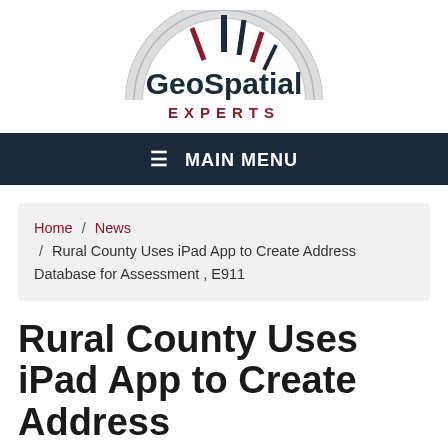[Figure (logo): GeoSpatial Experts logo with compass/gauge arc containing dark navy and dark red needle spikes above the text 'GeoSpatial' in dark navy bold and 'EXPERTS' in dark red spaced capitals]
≡  MAIN MENU
Home / News / Rural County Uses iPad App to Create Address Database for Assessment , E911
Rural County Uses iPad App to Create Address